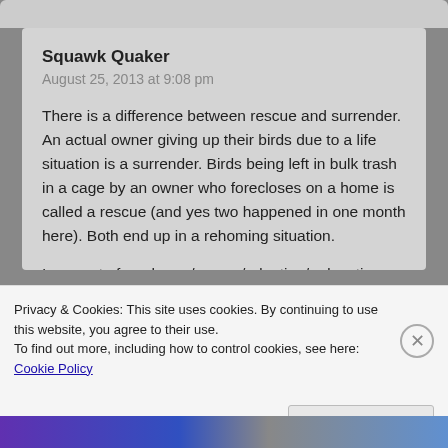Squawk Quaker
August 25, 2013 at 9:08 pm
There is a difference between rescue and surrender. An actual owner giving up their birds due to a life situation is a surrender. Birds being left in bulk trash in a cage by an owner who forecloses on a home is called a rescue (and yes two happened in one month here). Both end up in a rehoming situation.

I am part of a rehome/rescue/adoption/ education organization for exotic birds – we have to do better than Congress and reach across the aisles to help
Privacy & Cookies: This site uses cookies. By continuing to use this website, you agree to their use.
To find out more, including how to control cookies, see here: Cookie Policy
Close and accept